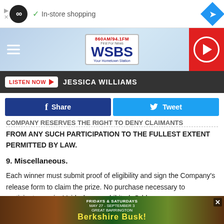[Figure (screenshot): Top ad bar with play/X icons, infinity loop circle logo, checkmark and 'In-store shopping' text, and a blue navigation diamond on the right]
[Figure (logo): WSBS 860AM/94.1FM radio station header with blue background, hamburger menu, station logo, and red play button]
[Figure (screenshot): Dark bar with LISTEN NOW red button and JESSICA WILLIAMS text]
[Figure (screenshot): Facebook Share and Twitter Tweet social buttons]
COMPANY RESERVES THE RIGHT TO DENY CLAIMANTS FROM ANY SUCH PARTICIPATION TO THE FULLEST EXTENT PERMITTED BY LAW.
9. Miscellaneous.
Each winner must submit proof of eligibility and sign the Company's release form to claim the prize. No purchase necessary to participate or win. Void where prohibited. Odds
[Figure (screenshot): Bottom advertisement banner for Berkshire Busk event, Fridays & Saturdays May 27 - September 3, Great Barrington]